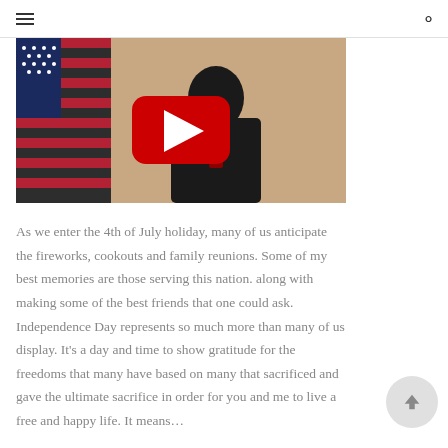hamburger menu | search
[Figure (screenshot): YouTube video thumbnail showing a person in a dark suit in front of an American flag, with a red YouTube play button overlay in the center]
As we enter the 4th of July holiday, many of us anticipate the fireworks, cookouts and family reunions. Some of my best memories are those serving this nation. along with making some of the best friends that one could ask. Independence Day represents so much more than many of us display. It's a day and time to show gratitude for the freedoms that many have based on many that sacrificed and gave the ultimate sacrifice in order for you and me to live a free and happy life. It means…